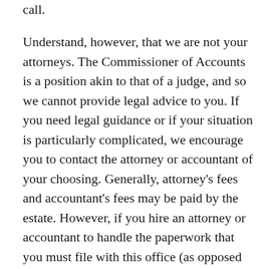call.
Understand, however, that we are not your attorneys. The Commissioner of Accounts is a position akin to that of a judge, and so we cannot provide legal advice to you. If you need legal guidance or if your situation is particularly complicated, we encourage you to contact the attorney or accountant of your choosing. Generally, attorney’s fees and accountant’s fees may be paid by the estate. However, if you hire an attorney or accountant to handle the paperwork that you must file with this office (as opposed to seeking advice on how to do it and still doing the paperwork yourself), these attorney’s fees or accountant’s fees may need to be deducted from